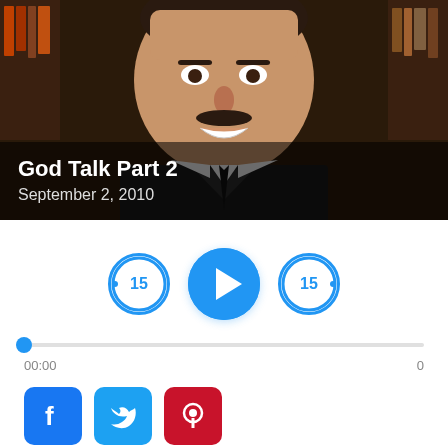[Figure (photo): Smiling man in dark suit with mustache, standing in front of bookshelves, podcast episode thumbnail]
God Talk Part 2
September 2, 2010
[Figure (infographic): Audio player controls: rewind 15s button, play button, forward 15s button]
00:00
0
[Figure (infographic): Social share buttons: Facebook, Twitter, Pinterest]
PODCAST
FREE MP3